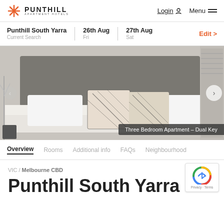PUNTHILL APARTMENT HOTELS | Login | Menu
Punthill South Yarra | Current Search | 26th Aug Fri | 27th Aug Sat | Edit >
[Figure (photo): Hotel bedroom with grey upholstered headboard, white bedding, and black and white patterned decorative pillows. Caption: Three Bedroom Apartment - Dual Key]
Overview | Rooms | Additional info | FAQs | Neighbourhood
VIC / Melbourne CBD
Punthill South Yarra